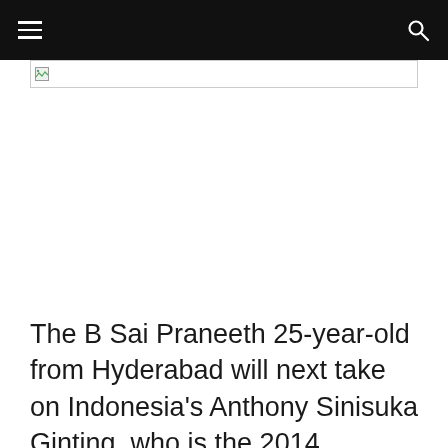[Figure (screenshot): Broken/unloaded image placeholder with thin border]
The B Sai Praneeth 25-year-old from Hyderabad will next take on Indonesia's Anthony Sinisuka Ginting, who is the 2014 Nanjing Youth Olympic and World Junior Championships boys' singles bronze